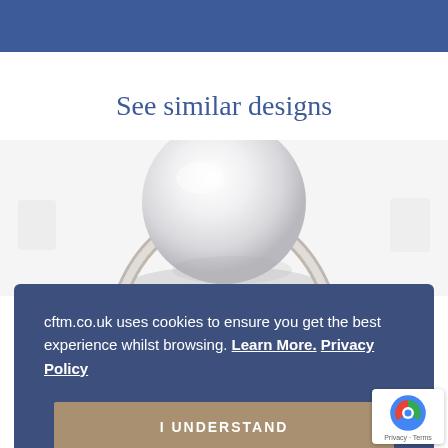See similar designs
[Figure (photo): Pearl and diamond jewelry piece — a large white/silver pearl set in a diamond-encrusted mount, partially visible from above]
cftm.co.uk uses cookies to ensure you get the best experience whilst browsing. Learn More. Privacy Policy
I UNDERSTAND